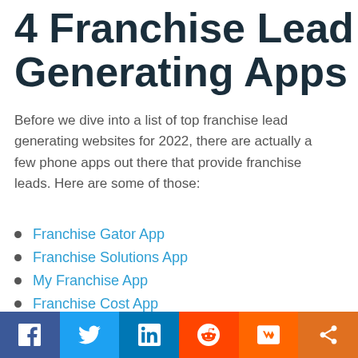4 Franchise Lead Generating Apps
Before we dive into a list of top franchise lead generating websites for 2022, there are actually a few phone apps out there that provide franchise leads. Here are some of those:
Franchise Gator App
Franchise Solutions App
My Franchise App
Franchise Cost App
Some of these providers also have franchise portal websites as well, but it is worth noting that these exist. In the future, an increasing amount of leads will probably be generated through mobile apps as oppo...